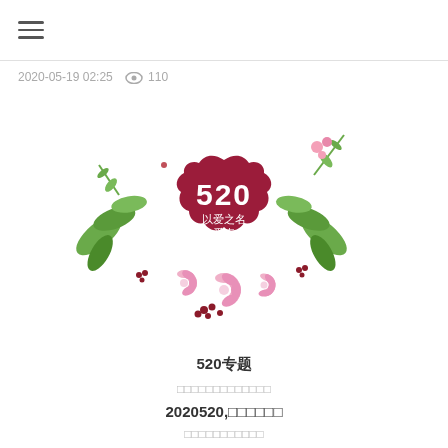≡ (menu icon)
2020-05-19 02:25   👁 110
[Figure (illustration): 520 Valentine's Day promotional illustration with a dark red badge/seal shape in the center showing '520' in digital font and Chinese text '以爱之名 为爱表白' (In the name of love, confess for love), surrounded by decorative green leaves, pink flowers, and red berries on a white background.]
520专题
□□□□□□□□□□□□□
2020520,□□□□□□
□□□□□□□□□□□
□□□□□□□□□□TA□□□□